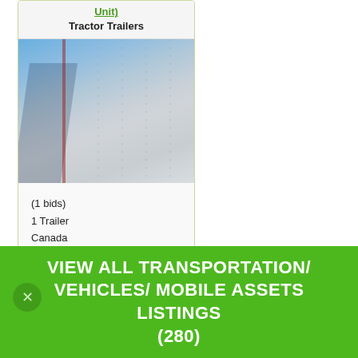Unit)
Tractor Trailers
[Figure (photo): Close-up photo of a trailer side panel with rivets and a blue sky background with trees visible on the left edge]
(1 bids)
1 Trailer
Canada
VIEW ALL TRANSPORTATION/ VEHICLES/ MOBILE ASSETS LISTINGS (280)